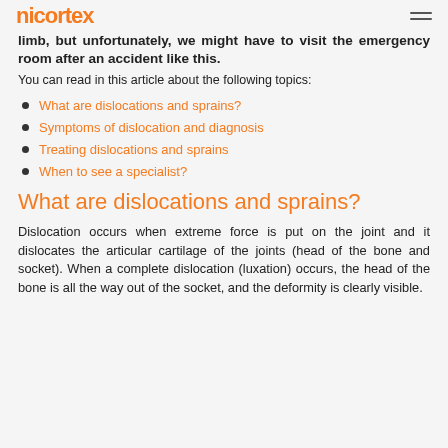nicortex [logo] [hamburger menu]
limb, but unfortunately, we might have to visit the emergency room after an accident like this.
You can read in this article about the following topics:
What are dislocations and sprains?
Symptoms of dislocation and diagnosis
Treating dislocations and sprains
When to see a specialist?
What are dislocations and sprains?
Dislocation occurs when extreme force is put on the joint and it dislocates the articular cartilage of the joints (head of the bone and socket). When a complete dislocation (luxation) occurs, the head of the bone is all the way out of the socket, and the deformity is clearly visible.